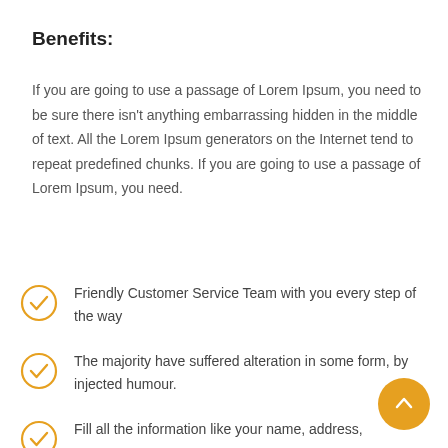Benefits:
If you are going to use a passage of Lorem Ipsum, you need to be sure there isn't anything embarrassing hidden in the middle of text. All the Lorem Ipsum generators on the Internet tend to repeat predefined chunks. If you are going to use a passage of Lorem Ipsum, you need.
Friendly Customer Service Team with you every step of the way
The majority have suffered alteration in some form, by injected humour.
Fill all the information like your name, address,